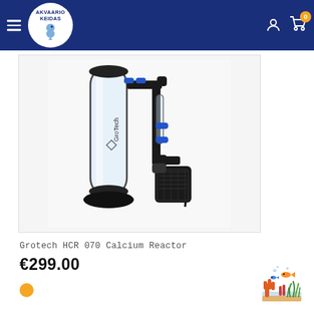Akvaario Keidas
[Figure (photo): GroTech HCR 070 Calcium Reactor product photo on white/grey background, showing a clear acrylic cylinder tube with black fittings, a pump, and blue quick-connect fittings]
Grotech HCR 070 Calcium Reactor
€299.00
[Figure (illustration): Small aquarium/reef illustration icon with fish, coral and seabed elements in orange, blue and teal colors]